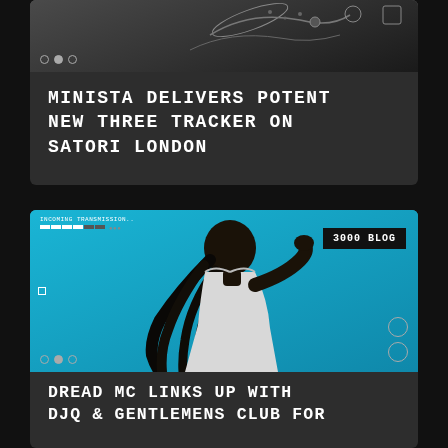[Figure (photo): Top card with dark image showing decorative elements, HUD-style overlays with dots and circle icon in top-left and right corner]
MINISTA DELIVERS POTENT NEW THREE TRACKER ON SATORI LONDON
[Figure (photo): Photo of a Black man with long locs wearing a white t-shirt against a cyan/teal background, with HUD-style interface overlays including INCOMING TRANSMISSION text, progress bars, 3000 BLOG badge, and navigation dots]
DREAD MC LINKS UP WITH DJQ & GENTLEMENS CLUB FOR